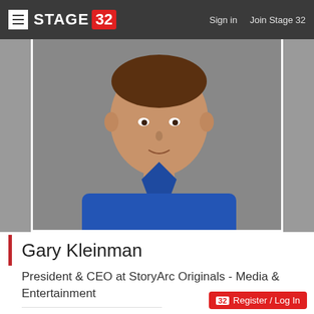STAGE 32 | Sign in   Join Stage 32
[Figure (photo): Headshot of Gary Kleinman, a man wearing a blue button-up shirt, photographed against a grey background.]
Gary Kleinman
President & CEO at StoryArc Originals - Media & Entertainment
Director, Producer, Screenwriter and Other
Los Angeles, California
32 Register / Log In